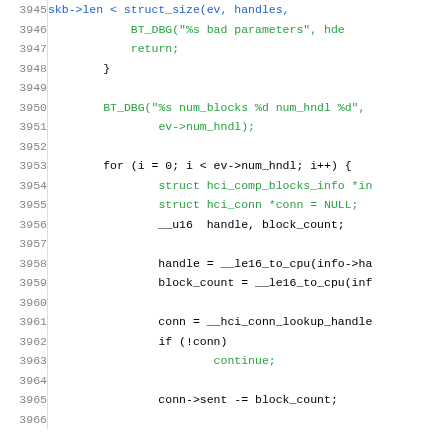[Figure (screenshot): Source code listing in C showing lines 3945-3966 of a Bluetooth kernel driver. Lines show parameter validation, debug logging, and a for-loop iterating over HCI connection handles to update block counts.]